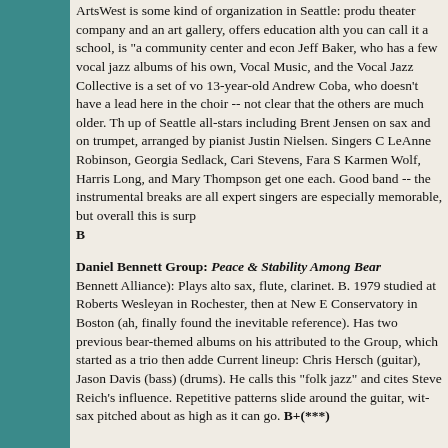ArtsWest is some kind of organization in Seattle: produces a theater company and an art gallery, offers education although you can call it a school, is "a community center and econ... Jeff Baker, who has a few vocal jazz albums of his own, ... Vocal Music, and the Vocal Jazz Collective is a set of vo... 13-year-old Andrew Coba, who doesn't have a lead here ... in the choir -- not clear that the others are much older. Th... up of Seattle all-stars including Brent Jensen on sax and ... on trumpet, arranged by pianist Justin Nielsen. Singers C... LeAnne Robinson, Georgia Sedlack, Cari Stevens, Fara S... Karmen Wolf, Harris Long, and Mary Thompson get one... each. Good band -- the instrumental breaks are all expert... singers are especially memorable, but overall this is surp... B
Daniel Bennett Group: Peace & Stability Among Bear... Bennett Alliance): Plays alto sax, flute, clarinet. B. 1979 ... studied at Roberts Wesleyan in Rochester, then at New E... Conservatory in Boston (ah, finally found the inevitable ... reference). Has two previous bear-themed albums on his ... attributed to the Group, which started as a trio then adde... Current lineup: Chris Hersch (guitar), Jason Davis (bass)... (drums). He calls this "folk jazz" and cites Steve Reich's ... influence. Repetitive patterns slide around the guitar, wit... sax pitched about as high as it can go. B+(***)